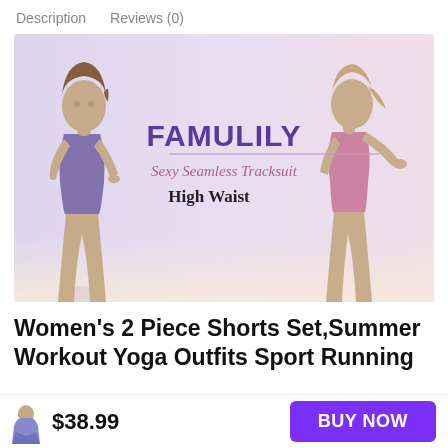Description   Reviews (0)
[Figure (photo): Product photo showing two women wearing Famulily seamless tracksuit sets — one in blue/purple on the left, one in pink on the right, both in athletic poses against a light background. Center text reads: FAMULILY / Sexy Seamless Tracksuit / High Waist]
Women's 2 Piece Shorts Set,Summer Workout Yoga Outfits Sport Running
$38.99
BUY NOW